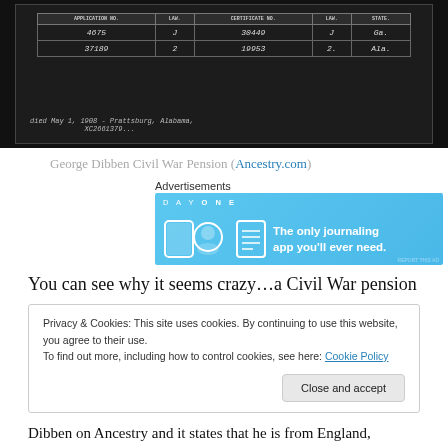[Figure (photo): Scanned Civil War pension document showing a table with handwritten entries: Application No. 4675, 37189; Certificate No. 30449, 19953; Last columns show J, Ga., Ala. Handwriting at bottom reads: died May 1, 1908 - Prattsburg, Alabama, XC2661379]
George Dibben Civil War Pension (Ancestry.com)
Advertisements
[Figure (screenshot): Day One app advertisement banner: blue background with app icons and text 'The only journaling app you'll ever need.']
You can see why it seems crazy…a Civil War pension
Privacy & Cookies: This site uses cookies. By continuing to use this website, you agree to their use.
To find out more, including how to control cookies, see here: Cookie Policy
Dibben on Ancestry and it states that he is from England,